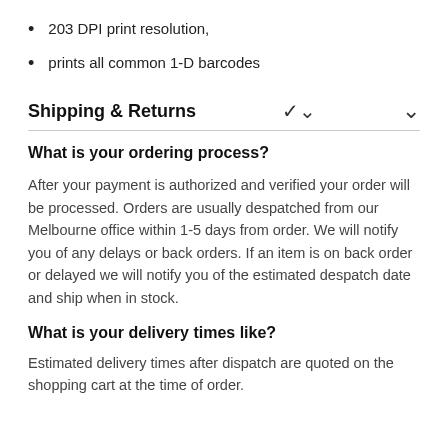203 DPI print resolution,
prints all common 1-D barcodes
Shipping & Returns
What is your ordering process?
After your payment is authorized and verified your order will be processed. Orders are usually despatched from our Melbourne office within 1-5 days from order. We will notify you of any delays or back orders. If an item is on back order or delayed we will notify you of the estimated despatch date and ship when in stock.
What is your delivery times like?
Estimated delivery times after dispatch are quoted on the shopping cart at the time of order.